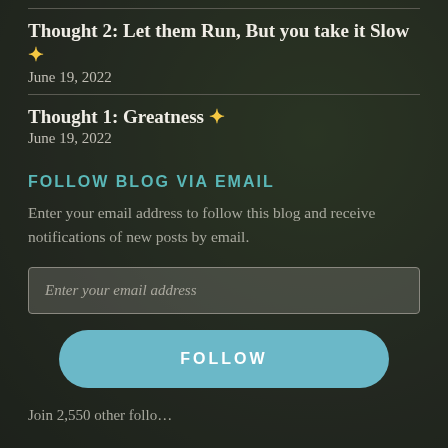Thought 2: Let them Run, But you take it Slow ✨
June 19, 2022
Thought 1: Greatness ✨
June 19, 2022
FOLLOW BLOG VIA EMAIL
Enter your email address to follow this blog and receive notifications of new posts by email.
Enter your email address
FOLLOW
Join 2,550 other follo…